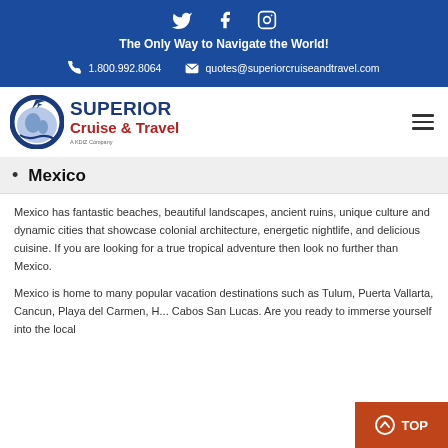Social icons: Twitter, Facebook, Instagram
The Only Way to Navigate the World!
1.800.992.8064   quotes@superiorcruiseandtravel.com
[Figure (logo): Superior Cruise & Travel logo with globe and airplane icon, tagline A KDIZ Company]
Mexico
Mexico has fantastic beaches, beautiful landscapes, ancient ruins, unique culture and dynamic cities that showcase colonial architecture, energetic nightlife, and delicious cuisine. If you are looking for a true tropical adventure then look no further than Mexico.
Mexico is home to many popular vacation destinations such as Tulum, Puerta Vallarta, Cancun, Playa del Carmen, H... Cabos San Lucas. Are you ready to immerse yourself into the local